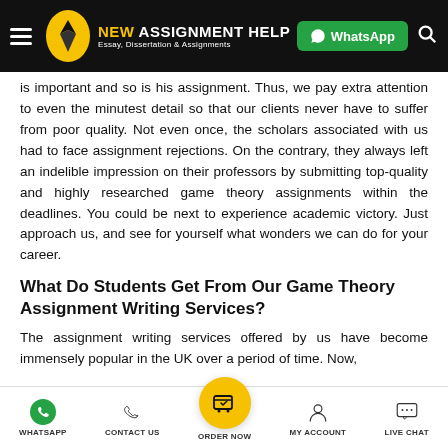NEW ASSIGNMENT HELP — Essay, Dissertation & Assignments — WhatsApp
is important and so is his assignment. Thus, we pay extra attention to even the minutest detail so that our clients never have to suffer from poor quality. Not even once, the scholars associated with us had to face assignment rejections. On the contrary, they always left an indelible impression on their professors by submitting top-quality and highly researched game theory assignments within the deadlines. You could be next to experience academic victory. Just approach us, and see for yourself what wonders we can do for your career.
What Do Students Get From Our Game Theory Assignment Writing Services?
The assignment writing services offered by us have become immensely popular in the UK over a period of time. Now,
WHATSAPP   CONTACT US   ORDER NOW   MY ACCOUNT   LIVE CHAT